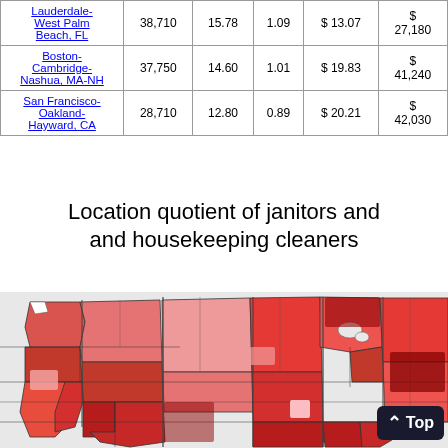| Area | Employment | Percent of total employment | Location quotient | Hourly mean wage | Annual mean wage |
| --- | --- | --- | --- | --- | --- |
| Lauderdale-West Palm Beach, FL | 38,710 | 15.78 | 1.09 | $ 13.07 | $ 27,180 |
| Boston-Cambridge-Nashua, MA-NH | 37,750 | 14.60 | 1.01 | $ 19.83 | $ 41,240 |
| San Francisco-Oakland-Hayward, CA | 28,710 | 12.80 | 0.89 | $ 20.21 | $ 42,030 |
Location quotient of janitors and and housekeeping cleaners
[Figure (map): Choropleth map of the United States showing location quotient of janitors and housekeeping cleaners by county/region, shaded in varying intensities of red]